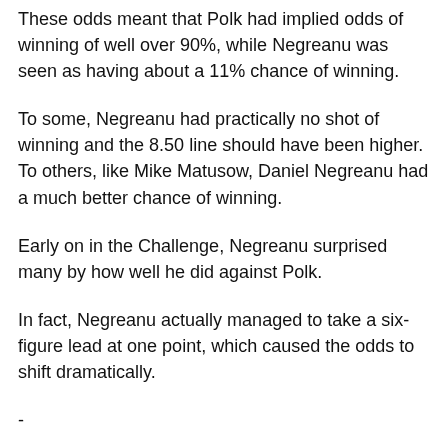These odds meant that Polk had implied odds of winning of well over 90%, while Negreanu was seen as having about a 11% chance of winning.
To some, Negreanu had practically no shot of winning and the 8.50 line should have been higher. To others, like Mike Matusow, Daniel Negreanu had a much better chance of winning.
Early on in the Challenge, Negreanu surprised many by how well he did against Polk.
In fact, Negreanu actually managed to take a six-figure lead at one point, which caused the odds to shift dramatically.
-
With Polk's Session 11 win over Negreanu, the odds have now shifted back to what they were before the Challenge got